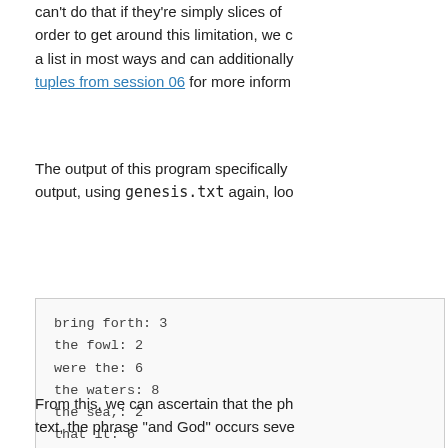can't do that if they're simply slices of ... order to get around this limitation, we c... a list in most ways and can additionally... tuples from session 06 for more inform...
The output of this program specifically ... output, using genesis.txt again, loo...
bring forth: 3
the fowl: 2
were the: 6
the waters: 8
the sea,: 2
that it: 6
which were: 2
was so.: 6
the morning: 6
the firmament: 5
and God: 7

...
From this, we can ascertain that the ph... text, the phrase "and God" occurs seve...